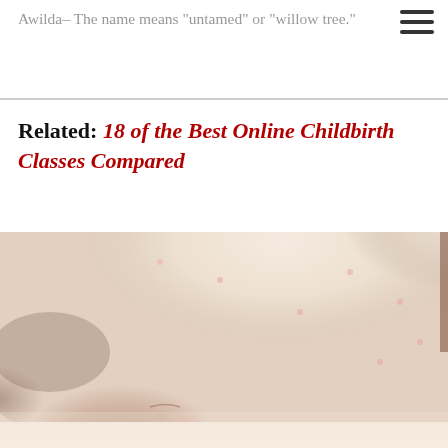Awilda– The name means "untamed" or "willow tree."
Related: 18 of the Best Online Childbirth Classes Compared
[Figure (photo): Close-up photograph of a sleeping newborn baby wrapped in a white patterned blanket]